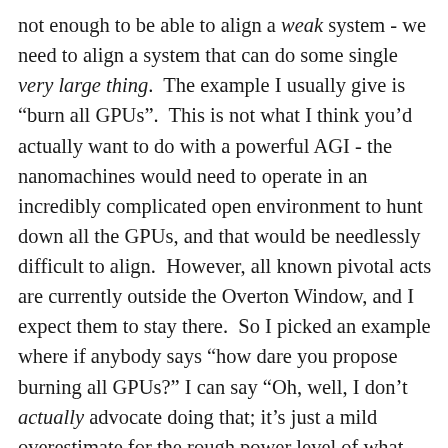not enough to be able to align a weak system - we need to align a system that can do some single very large thing. The example I usually give is “burn all GPUs”. This is not what I think you’d actually want to do with a powerful AGI - the nanomachines would need to operate in an incredibly complicated open environment to hunt down all the GPUs, and that would be needlessly difficult to align. However, all known pivotal acts are currently outside the Overton Window, and I expect them to stay there. So I picked an example where if anybody says “how dare you propose burning all GPUs?” I can say “Oh, well, I don’t actually advocate doing that; it’s just a mild overestimate for the rough power level of what you’d have to do, and the rough level of machine cognition required to do that, in order to prevent somebody else from destroying the world in six months or three years.” (If it wasn’t a mild overestimate, then ‘burn all GPUs’ would actually be the minimal pivotal